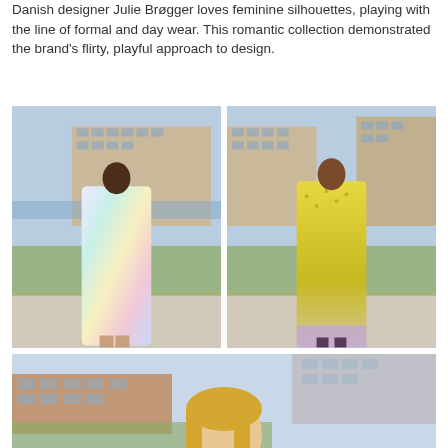Danish designer Julie Brøgger loves feminine silhouettes, playing with the line of formal and day wear. This romantic collection demonstrated the brand's flirty, playful approach to design.
[Figure (photo): Model wearing a floor-length pastel rainbow/tie-dye halter dress walking outdoors on a stone path with greenery and buildings in background.]
[Figure (photo): Model wearing a yellow floral sleeveless high-neck long dress with ruffled hem walking outdoors on a stone path with greenery and buildings in background.]
[Figure (photo): Close-up of a model with blonde hair, partial view, outdoors with blurred building background. Bottom portion of page.]